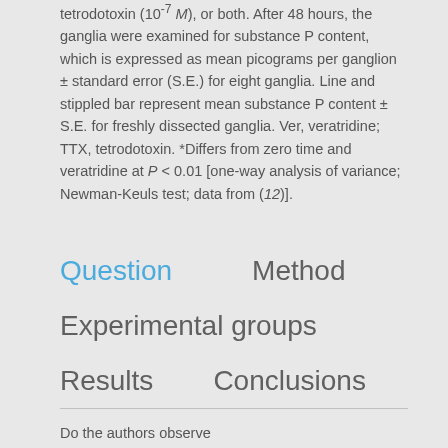tetrodotoxin (10⁻⁷ M), or both. After 48 hours, the ganglia were examined for substance P content, which is expressed as mean picograms per ganglion ± standard error (S.E.) for eight ganglia. Line and stippled bar represent mean substance P content ± S.E. for freshly dissected ganglia. Ver, veratridine; TTX, tetrodotoxin. *Differs from zero time and veratridine at P < 0.01 [one-way analysis of variance; Newman-Keuls test; data from (12)].
Question
Method
Experimental groups
Results
Conclusions
Do the authors observe